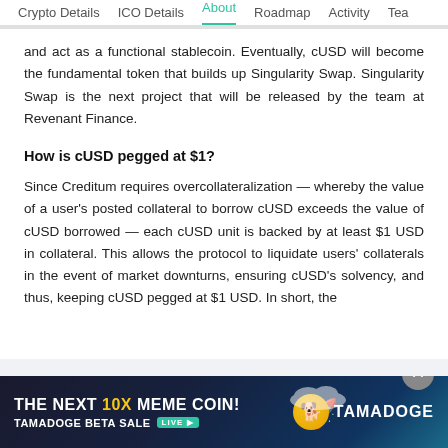Crypto Details   ICO Details   About   Roadmap   Activity   Tea
and act as a functional stablecoin. Eventually, cUSD will become the fundamental token that builds up Singularity Swap. Singularity Swap is the next project that will be released by the team at Revenant Finance.
How is cUSD pegged at $1?
Since Creditum requires overcollateralization — whereby the value of a user's posted collateral to borrow cUSD exceeds the value of cUSD borrowed — each cUSD unit is backed by at least $1 USD in collateral. This allows the protocol to liquidate users' collaterals in the event of market downturns, ensuring cUSD's solvency, and thus, keeping cUSD pegged at $1 USD. In short, the
[Figure (infographic): Advertisement banner for Tamadoge — 'The Next 10X Meme Coin! Tamadoge Beta Sale LIVE' with rocket and clouds illustration and Tamadoge logo]